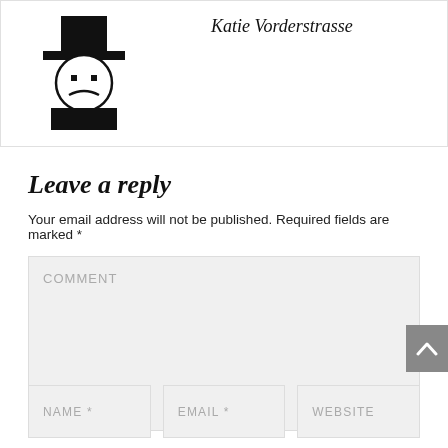[Figure (illustration): Stylized stick-figure avatar with a black hat, round face, and wide shoulders, resembling a default user avatar icon]
Katie Vorderstrasse
Leave a reply
Your email address will not be published. Required fields are marked *
COMMENT (textarea placeholder)
NAME * | EMAIL * | WEBSITE (input field placeholders)